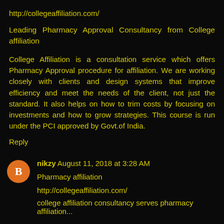http://collegeaffiliation.com/
Leading Pharmacy Approval Consultancy from College affiliation
College Affiliation is a consultation service which offers Pharmacy Approval procedure for affiliation. We are working closely with clients and design systems that improve efficiency and meet the needs of the client, not just the standard. It also helps on how to trim costs by focusing on investments and how to grow strategies. This course is run under the PCI approved by Govt.of India.
Reply
nikzy August 11, 2018 at 3:28 AM
Pharmacy affiliation
http://collegeaffiliation.com/
college affiliation consultancy serves pharmacy affiliation...